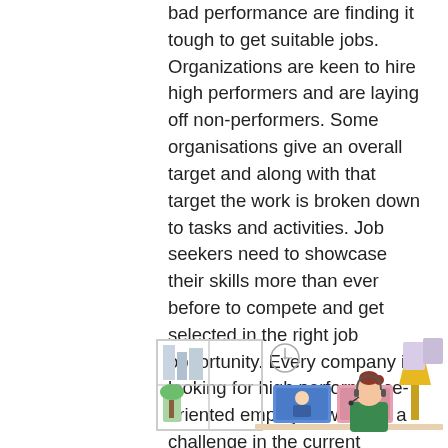bad performance are finding it tough to get suitable jobs. Organizations are keen to hire high performers and are laying off non-performers. Some organisations give an overall target and along with that target the work is broken down to tasks and activities. Job seekers need to showcase their skills more than ever before to compete and get selected in the right job opportunity. Every company is looking for high performance-oriented employee which is a challenge in the current scenario.
[Figure (illustration): A flat-style illustration of a person (woman with red hair bun) wearing headphones, sitting at a desk with a yellow lamp. Behind her is a window with city buildings, a plant, and two monitor screens showing people on video calls. A clock is visible on the wall.]